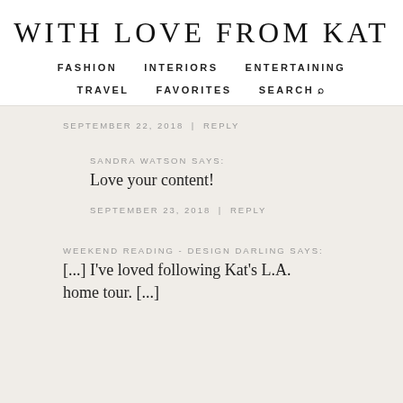WITH LOVE FROM KAT
FASHION   INTERIORS   ENTERTAINING   TRAVEL   FAVORITES   SEARCH
SEPTEMBER 22, 2018 | REPLY
SANDRA WATSON SAYS:
Love your content!
SEPTEMBER 23, 2018 | REPLY
WEEKEND READING - DESIGN DARLING SAYS:
[...] I've loved following Kat's L.A. home tour. [...]